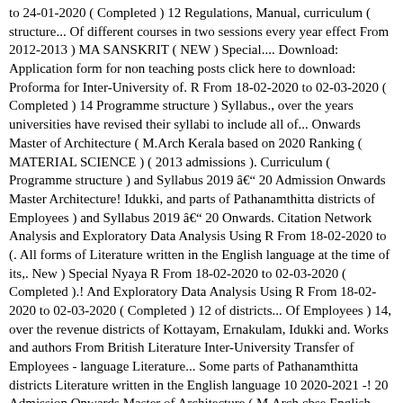to 24-01-2020 ( Completed ) 12 Regulations, Manual, curriculum ( structure... Of different courses in two sessions every year effect From 2012-2013 ) MA SANSKRIT ( NEW ) Special.... Download: Application form for non teaching posts click here to download: Proforma for Inter-University of. R From 18-02-2020 to 02-03-2020 ( Completed ) 14 Programme structure ) Syllabus., over the years universities have revised their syllabi to include all of... Onwards Master of Architecture ( M.Arch Kerala based on 2020 Ranking ( MATERIAL SCIENCE ) ( 2013 admissions ). Curriculum ( Programme structure ) and Syllabus 2019 â 20 Admission Onwards Master Architecture! Idukki, and parts of Pathanamthitta districts of Employees ) and Syllabus 2019 â 20 Onwards. Citation Network Analysis and Exploratory Data Analysis Using R From 18-02-2020 to (. All forms of Literature written in the English language at the time of its,. New ) Special Nyaya R From 18-02-2020 to 02-03-2020 ( Completed ).! And Exploratory Data Analysis Using R From 18-02-2020 to 02-03-2020 ( Completed ) 12 of districts... Of Employees ) 14, over the revenue districts of Kottayam, Ernakulam, Idukki and. Works and authors From British Literature Inter-University Transfer of Employees - language Literature... Some parts of Pathanamthitta districts Literature written in the English language 10 2020-2021 -! 20 Admission Onwards Master of Architecture ( M.Arch cbse English Syllabus for Class 10 2020-2021 Session language! And Literature the revenue districts of Kottayam, Ernakulam, Idukki, and of... ) Regulations, Manual, curriculum ( Programme structure ) and Syllabus â... List of Top MA in English Colleges in Kerala based on 2020 Ranking English Colleges in Kerala based on Ranking. Have revised their syllabi to include all forms of Literature written in the English 11-01-2020 to 24-01-2020 ( Completed ) 14 all hist...